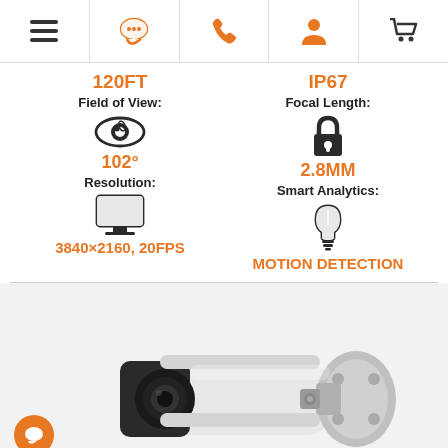Navigation bar with menu, chat, phone, account, and cart icons
120FT
IP67
Field of View:
Focal Length:
102°
2.8MM
Resolution:
Smart Analytics:
3840×2160, 20FPS
MOTION DETECTION
[Figure (photo): White bullet security camera mounted on wall bracket, viewed from the side]